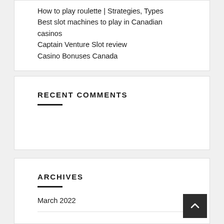How to play roulette | Strategies, Types
Best slot machines to play in Canadian casinos
Captain Venture Slot review
Casino Bonuses Canada
RECENT COMMENTS
ARCHIVES
March 2022